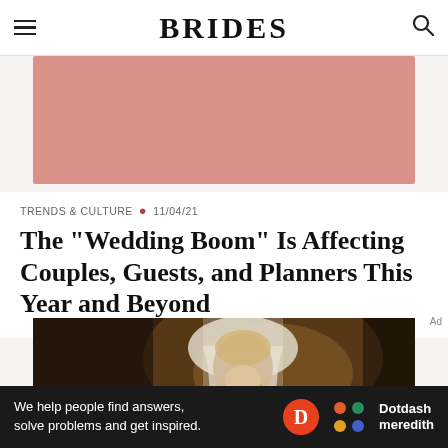BRIDES
[Figure (photo): Pink/salmon colored image placeholder rectangle]
TRENDS & CULTURE • 11/04/21
The "Wedding Boom" Is Affecting Couples, Guests, and Planners This Year and Beyond
[Figure (photo): Dark photograph of a bride wearing a white veil, looking down]
[Figure (infographic): Ad banner: We help people find answers, solve problems and get inspired. Dotdash meredith logo.]